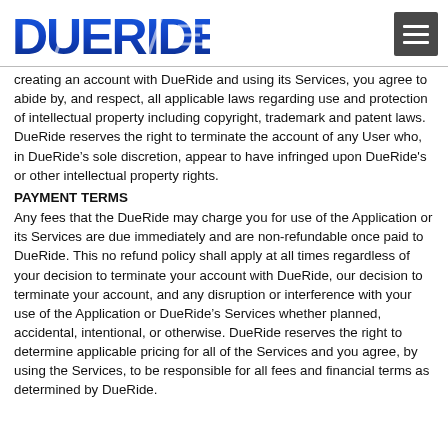DueRide [logo]
creating an account with DueRide and using its Services, you agree to abide by, and respect, all applicable laws regarding use and protection of intellectual property including copyright, trademark and patent laws. DueRide reserves the right to terminate the account of any User who, in DueRide’s sole discretion, appear to have infringed upon DueRide's or other intellectual property rights.
PAYMENT TERMS
Any fees that the DueRide may charge you for use of the Application or its Services are due immediately and are non-refundable once paid to DueRide. This no refund policy shall apply at all times regardless of your decision to terminate your account with DueRide, our decision to terminate your account, and any disruption or interference with your use of the Application or DueRide’s Services whether planned, accidental, intentional, or otherwise. DueRide reserves the right to determine applicable pricing for all of the Services and you agree, by using the Services, to be responsible for all fees and financial terms as determined by DueRide.